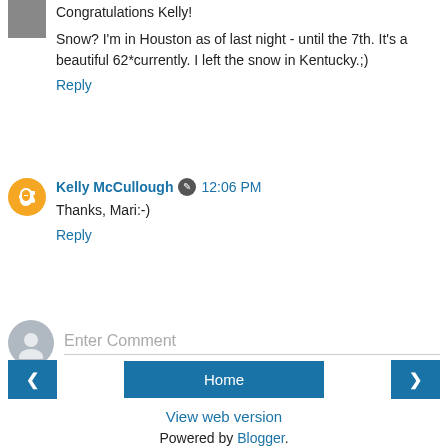Congratulations Kelly!
Snow? I'm in Houston as of last night - until the 7th. It's a beautiful 62*currently. I left the snow in Kentucky.;)
Reply
Kelly McCullough  12:06 PM
Thanks, Mari:-)
Reply
Enter Comment
Home
View web version
Powered by Blogger.